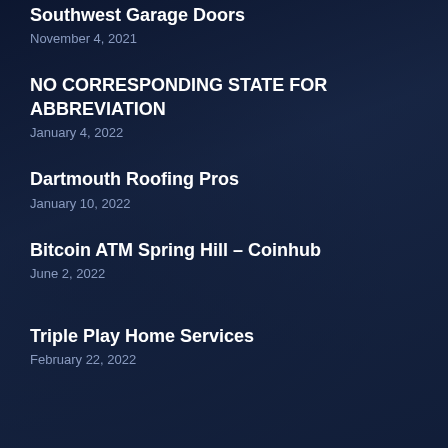Southwest Garage Doors
November 4, 2021
NO CORRESPONDING STATE FOR ABBREVIATION
January 4, 2022
Dartmouth Roofing Pros
January 10, 2022
Bitcoin ATM Spring Hill – Coinhub
June 2, 2022
Triple Play Home Services
February 22, 2022